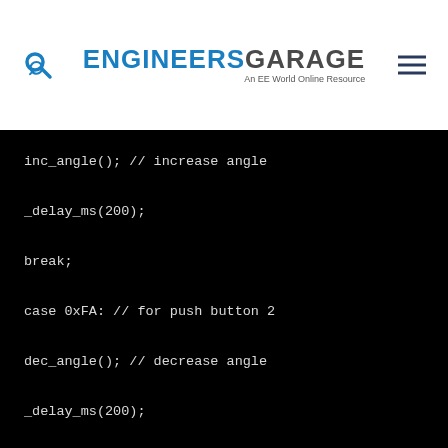ENGINEERS GARAGE — An EE World Online Resource
[Figure (screenshot): Code block on black background showing C code: inc_angle(); // increase angle, _delay_ms(200);, break;, case 0xFA: // for push button 2, dec_angle(); // decrease angle, _delay_ms(200);]